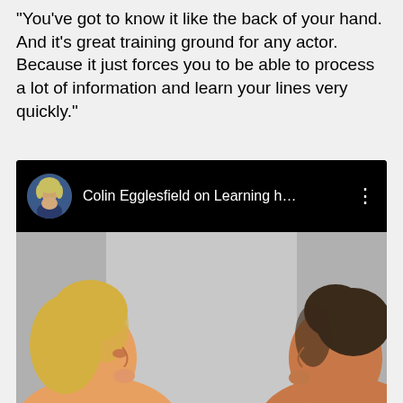"You've got to know it like the back of your hand. And it's great training ground for any actor. Because it just forces you to be able to process a lot of information and learn your lines very quickly."
[Figure (screenshot): A video card with black header showing a circular avatar of a woman with blonde hair, the title 'Colin Egglesfield on Learning h...' and a three-dot menu icon. Below is a video thumbnail showing two people facing each other in profile — a blonde woman on the left and a dark-haired man on the right — against a grey background.]